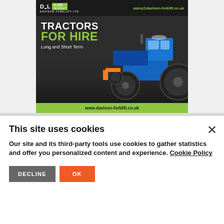[Figure (illustration): Davison Forklift Ltd advertisement featuring a blue tractor on a dark field background. Header shows DFL and Clark logos with email sales@davison-forklift.co.uk. Main text reads TRACTORS FOR HIRE Long and Short Term. Footer shows www.davison-forklift.co.uk on a green background.]
This site uses cookies
Our site and its third-party tools use cookies to gather statistics and offer you personalized content and experience. Cookie Policy